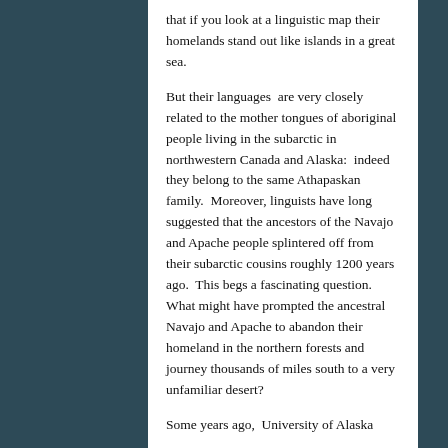that if you look at a linguistic map their homelands stand out like islands in a great sea.
But their languages are very closely related to the mother tongues of aboriginal people living in the subarctic in northwestern Canada and Alaska: indeed they belong to the same Athapaskan family. Moreover, linguists have long suggested that the ancestors of the Navajo and Apache people splintered off from their subarctic cousins roughly 1200 years ago. This begs a fascinating question. What might have prompted the ancestral Navajo and Apache to abandon their homeland in the northern forests and journey thousands of miles south to a very unfamiliar desert?
Some years ago, University of Alaska